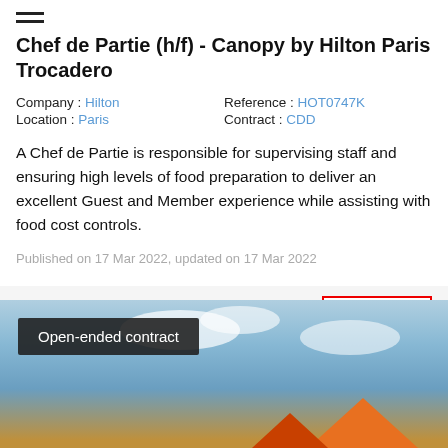≡ (hamburger menu icon)
Chef de Partie (h/f) - Canopy by Hilton Paris Trocadero
Company : Hilton   Reference : HOT0747K
Location : Paris    Contract : CDD
A Chef de Partie is responsible for supervising staff and ensuring high levels of food preparation to deliver an excellent Guest and Member experience while assisting with food cost controls.
Published on 17 Mar 2022, updated on 17 Mar 2022
Apply
[Figure (photo): Outdoor photo with blue sky and clouds, orange beach umbrella visible, with a dark overlay label reading 'Open-ended contract']